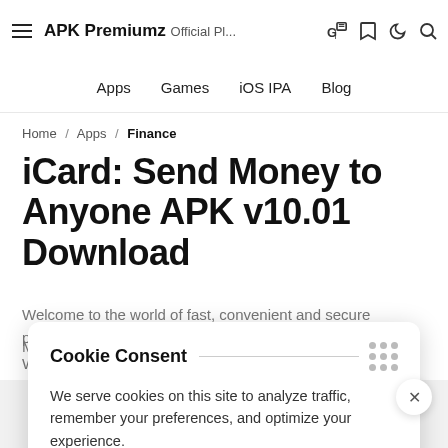APK Premiumz Official Pl...
Apps / Games / iOS IPA / Blog
Home / Apps / Finance
iCard: Send Money to Anyone APK v10.01 Download
Welcome to the world of fast, convenient and secure payments.
Cookie Consent
We serve cookies on this site to analyze traffic, remember your preferences, and optimize your experience.